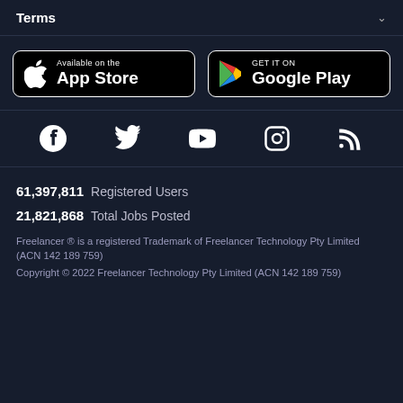Terms
[Figure (logo): App Store and Google Play download buttons side by side]
[Figure (infographic): Social media icons: Facebook, Twitter, YouTube, Instagram, RSS]
61,397,811  Registered Users
21,821,868  Total Jobs Posted
Freelancer ® is a registered Trademark of Freelancer Technology Pty Limited (ACN 142 189 759)
Copyright © 2022 Freelancer Technology Pty Limited (ACN 142 189 759)